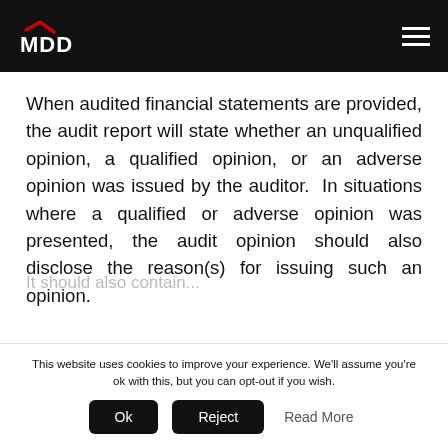MDD
When audited financial statements are provided, the audit report will state whether an unqualified opinion, a qualified opinion, or an adverse opinion was issued by the auditor. In situations where a qualified or adverse opinion was presented, the audit opinion should also disclose the reason(s) for issuing such an opinion.
This website uses cookies to improve your experience. We'll assume you're ok with this, but you can opt-out if you wish.